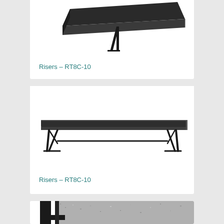[Figure (photo): Partial view of a black stage riser/platform with folding legs, photographed from above-front angle, on white background]
Risers – RT8C-10
[Figure (photo): Full side view of a black stage riser/platform (RT8C-10) with folding metal legs, on white background]
Risers – RT8C-10
[Figure (photo): Close-up partial view of black stage riser corner detail showing textured carpet surface and metal frame]